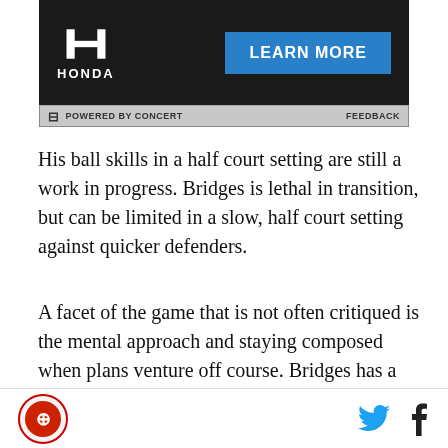[Figure (other): Honda advertisement banner with Honda logo on left and 'LEARN MORE' blue button on right, dark background, with 'POWERED BY CONCERT' and 'FEEDBACK' footer bar]
His ball skills in a half court setting are still a work in progress. Bridges is lethal in transition, but can be limited in a slow, half court setting against quicker defenders.
A facet of the game that is not often critiqued is the mental approach and staying composed when plans venture off course. Bridges has a tendency to be a bit volatile at time and can display poor body language after shaky shooting and tumultuous times on the
Site icon | Twitter icon | Facebook icon